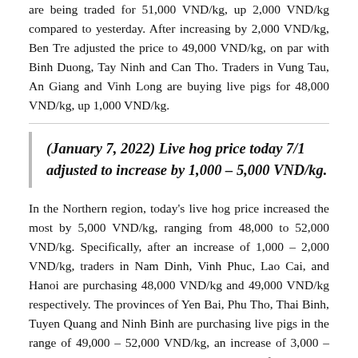are being traded for 51,000 VND/kg, up 2,000 VND/kg compared to yesterday. After increasing by 2,000 VND/kg, Ben Tre adjusted the price to 49,000 VND/kg, on par with Binh Duong, Tay Ninh and Can Tho. Traders in Vung Tau, An Giang and Vinh Long are buying live pigs for 48,000 VND/kg, up 1,000 VND/kg.
(January 7, 2022) Live hog price today 7/1 adjusted to increase by 1,000 – 5,000 VND/kg.
In the Northern region, today's live hog price increased the most by 5,000 VND/kg, ranging from 48,000 to 52,000 VND/kg. Specifically, after an increase of 1,000 – 2,000 VND/kg, traders in Nam Dinh, Vinh Phuc, Lao Cai, and Hanoi are purchasing 48,000 VND/kg and 49,000 VND/kg respectively. The provinces of Yen Bai, Phu Tho, Thai Binh, Tuyen Quang and Ninh Binh are purchasing live pigs in the range of 49,000 – 52,000 VND/kg, an increase of 3,000 – 4,000 VND/kg. Similarly, the two provinces of Bac Giang and Hung Yen increased by 5,000 VND/kg to 51,000 VND/kg and 52,000 VND/kg.